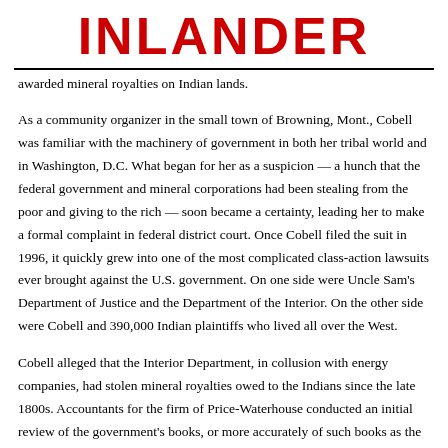INLANDER
awarded mineral royalties on Indian lands.
As a community organizer in the small town of Browning, Mont., Cobell was familiar with the machinery of government in both her tribal world and in Washington, D.C. What began for her as a suspicion — a hunch that the federal government and mineral corporations had been stealing from the poor and giving to the rich — soon became a certainty, leading her to make a formal complaint in federal district court. Once Cobell filed the suit in 1996, it quickly grew into one of the most complicated class-action lawsuits ever brought against the U.S. government. On one side were Uncle Sam's Department of Justice and the Department of the Interior. On the other side were Cobell and 390,000 Indian plaintiffs who lived all over the West.
Cobell alleged that the Interior Department, in collusion with energy companies, had stolen mineral royalties owed to the Indians since the late 1800s. Accountants for the firm of Price-Waterhouse conducted an initial review of the government's books, or more accurately of such books as the government could produce. In